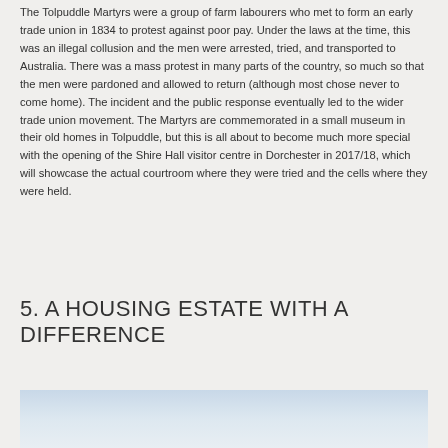The Tolpuddle Martyrs were a group of farm labourers who met to form an early trade union in 1834 to protest against poor pay. Under the laws at the time, this was an illegal collusion and the men were arrested, tried, and transported to Australia. There was a mass protest in many parts of the country, so much so that the men were pardoned and allowed to return (although most chose never to come home). The incident and the public response eventually led to the wider trade union movement. The Martyrs are commemorated in a small museum in their old homes in Tolpuddle, but this is all about to become much more special with the opening of the Shire Hall visitor centre in Dorchester in 2017/18, which will showcase the actual courtroom where they were tried and the cells where they were held.
5. A HOUSING ESTATE WITH A DIFFERENCE
[Figure (photo): A partial photograph showing a light blue sky with clouds, cropped at the bottom of the page.]